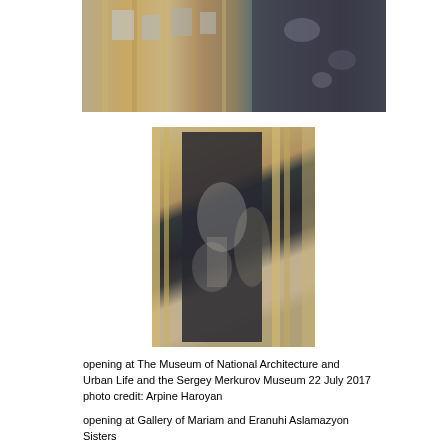[Figure (photo): Exhibition installation photo showing wooden frame structures with hanging photographs/prints in a gallery setting, top wide image]
[Figure (photo): Exhibition installation photo showing a close-up of a wooden frame structure with a large black and white print, a person visible in the background]
opening at The Museum of National Architecture and
Urban Life and the Sergey Merkurov Museum 22 July 2017
photo credit: Arpine Haroyan

opening at Gallery of Mariam and Eranuhi Aslamazyon Sisters